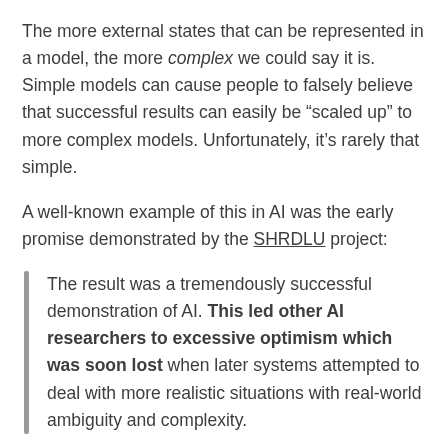The more external states that can be represented in a model, the more complex we could say it is. Simple models can cause people to falsely believe that successful results can easily be “scaled up” to more complex models. Unfortunately, it’s rarely that simple.
A well-known example of this in AI was the early promise demonstrated by the SHRDLU project:
The result was a tremendously successful demonstration of AI. This led other AI researchers to excessive optimism which was soon lost when later systems attempted to deal with more realistic situations with real-world ambiguity and complexity.
To summarize: don’t assume that a successful AI